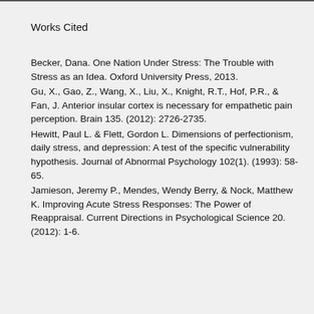Works Cited
Becker, Dana. One Nation Under Stress: The Trouble with Stress as an Idea. Oxford University Press, 2013.
Gu, X., Gao, Z., Wang, X., Liu, X., Knight, R.T., Hof, P.R., & Fan, J. Anterior insular cortex is necessary for empathetic pain perception. Brain 135. (2012): 2726-2735.
Hewitt, Paul L. & Flett, Gordon L. Dimensions of perfectionism, daily stress, and depression: A test of the specific vulnerability hypothesis. Journal of Abnormal Psychology 102(1). (1993): 58-65.
Jamieson, Jeremy P., Mendes, Wendy Berry, & Nock, Matthew K. Improving Acute Stress Responses: The Power of Reappraisal. Current Directions in Psychological Science 20. (2012): 1-6.